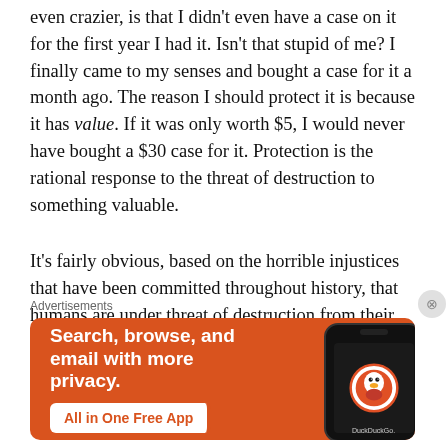even crazier, is that I didn't even have a case on it for the first year I had it. Isn't that stupid of me? I finally came to my senses and bought a case for it a month ago. The reason I should protect it is because it has value. If it was only worth $5, I would never have bought a $30 case for it. Protection is the rational response to the threat of destruction to something valuable.
It's fairly obvious, based on the horrible injustices that have been committed throughout history, that humans are under threat of destruction from their government. Just like the threat of my valuable cell phone smashing on the ground compelled me to get a case for it, so too did the threat of the government mistreating people
Advertisements
[Figure (screenshot): DuckDuckGo advertisement banner with orange background showing a smartphone. Text reads: Search, browse, and email with more privacy. All in One Free App. DuckDuckGo.]